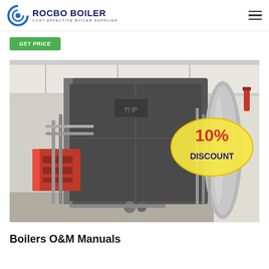ROCBO BOILER — COST-EFFECTIVE BOILER SUPPLIER
Get Price
[Figure (photo): Industrial boiler installed in a factory facility. A large dark-grey cylindrical boiler body is mounted horizontally. A red burner unit is attached at the front left. Various pipes and fittings are visible. A '10% DISCOUNT' sticker is overlaid on the right side of the image.]
Boilers O&M Manuals